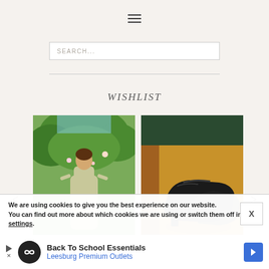≡ (hamburger menu icon)
SEARCH...
WISHLIST
[Figure (photo): Two product images in a carousel: left image shows a woman in a light green/sage flowy dress standing in a garden with roses; right image shows black leather shoes/heels on a golden/mustard yellow surface. Left and right navigation arrows flank the images.]
We are using cookies to give you the best experience on our website.
You can find out more about which cookies we are using or switch them off in settings.
Back To School Essentials
Leesburg Premium Outlets